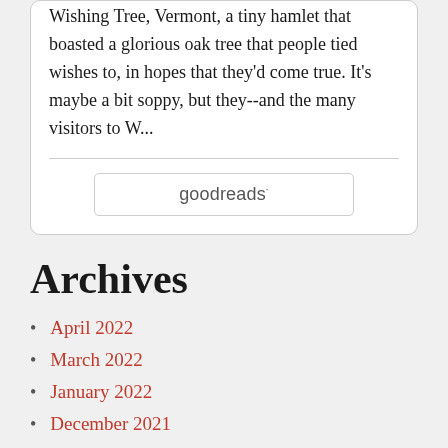Wishing Tree, Vermont, a tiny hamlet that boasted a glorious oak tree that people tied wishes to, in hopes that they'd come true. It's maybe a bit soppy, but they--and the many visitors to W...
[Figure (logo): Goodreads logo button with rounded rectangle border]
Archives
April 2022
March 2022
January 2022
December 2021
November 2021
October 2021